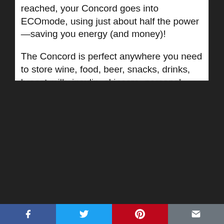reached, your Concord goes into ECOmode, using just about half the power—saving you energy (and money)!
The Concord is perfect anywhere you need to store wine, food, beer, snacks, drinks, breast milk, insulin, skincare, personal care, and beauty products, medicine and other essentials at a specific temperature.
Its modern design features a compact yet spacious, 20-liter capacity and a tempered glass front. A molded inset carry handle on each side makes transport easy and convenient. Use it everywhere—the